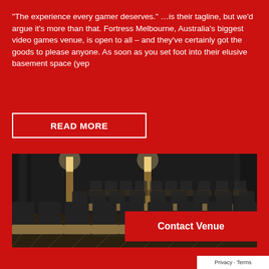"The experience every gamer deserves." …is their tagline, but we'd argue it's more than that. Fortress Melbourne, Australia's biggest video games venue, is open to all – and they've certainly got the goods to please anyone. As soon as you set foot into their elusive basement space (yep
READ MORE
[Figure (photo): Interior of Fortress Melbourne gaming venue showing rows of black leather recliner chairs with wooden tray tables in a cinema-style room with dark curtains and warm accent lighting.]
Contact Venue
Privacy · Terms